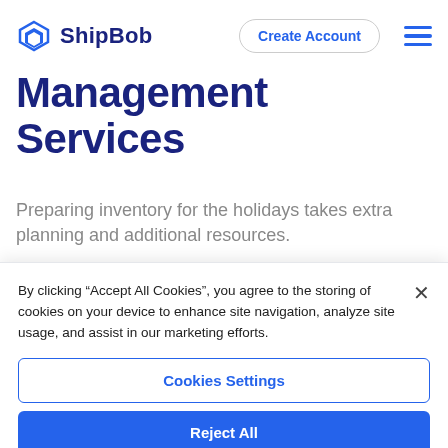ShipBob | Create Account
Management Services
Preparing inventory for the holidays takes extra planning and additional resources.
By clicking “Accept All Cookies”, you agree to the storing of cookies on your device to enhance site navigation, analyze site usage, and assist in our marketing efforts.
Cookies Settings
Reject All
Accept All Cookies